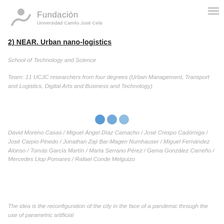Fundación Universidad Camilo José Cela
2) NEAR. Urban nano-logistics
School of Technology and Science
Team: 11 UCJC researchers from four degrees (Urban Management, Transport and Logistics, Digital Arts and Business and Technology)
[Figure (other): Three circles decoration: two blue and one lighter blue]
David Moreno Casas / Miguel Ángel Díaz Camacho / José Crespo Cadórniga / José Carpio Pinedo / Jonathan Zaji Bar-Magen Numhauser / Miguel Fernández Alonso / Tomás García Martín / Marta Serrano Pérez / Gema González Carreño / Mercedes Llop Pomares / Rafael Conde Melguizo
The idea is the reconfiguration of the city in the face of a pandemic through the use of parametric artificial